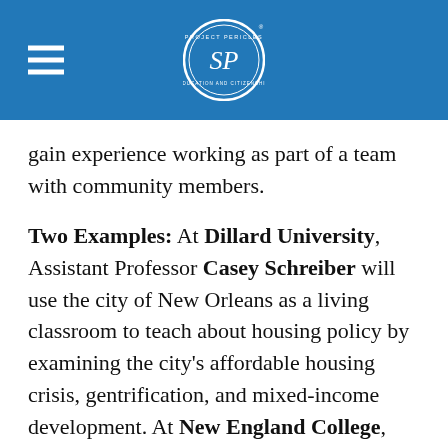[Figure (logo): Project Pericles circular logo with blue background and white text]
gain experience working as part of a team with community members.
Two Examples: At Dillard University, Assistant Professor Casey Schreiber will use the city of New Orleans as a living classroom to teach about housing policy by examining the city's affordable housing crisis, gentrification, and mixed-income development. At New England College, Associate Professor Alex Picard and Professor Glenn Stuart of the Theatre Department will work with their students to produce an original production that addresses issues of concern to the community and provides a space "to engage in